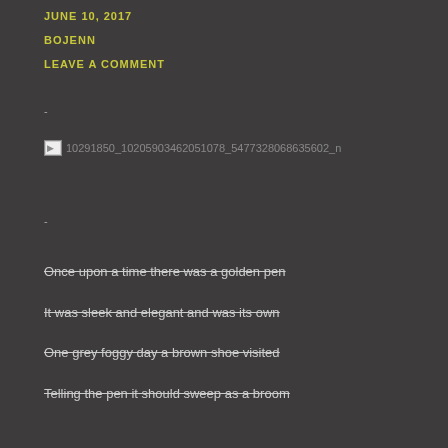JUNE 10, 2017
BOJENN
LEAVE A COMMENT
-
[Figure (other): Broken image placeholder with filename: 10291850_10205903462051078_5477328068635602_n]
-
Once upon a time there was a golden pen
It was sleek and elegant and was its own
One grey foggy day a brown shoe visited
Telling the pen it should sweep as a broom